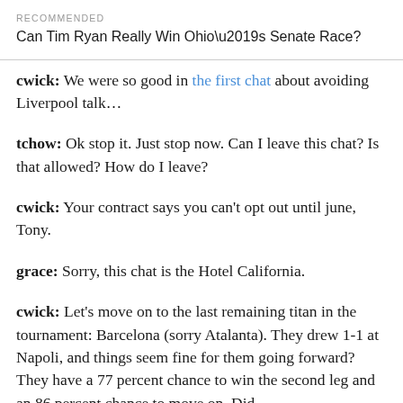RECOMMENDED
Can Tim Ryan Really Win Ohio’s Senate Race?
cwick: We were so good in the first chat about avoiding Liverpool talk…
tchow: Ok stop it. Just stop now. Can I leave this chat? Is that allowed? How do I leave?
cwick: Your contract says you can’t opt out until june, Tony.
grace: Sorry, this chat is the Hotel California.
cwick: Let’s move on to the last remaining titan in the tournament: Barcelona (sorry Atalanta). They drew 1-1 at Napoli, and things seem fine for them going forward? They have a 77 percent chance to win the second leg and an 86 percent chance to move on. Did